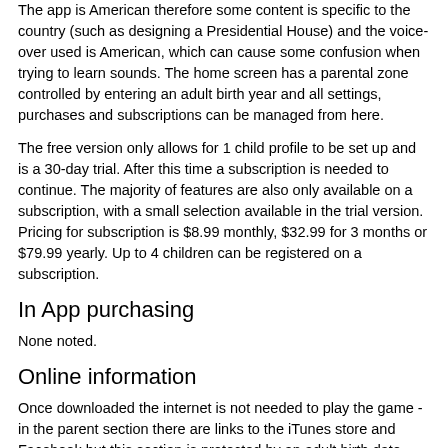The app is American therefore some content is specific to the country (such as designing a Presidential House) and the voice-over used is American, which can cause some confusion when trying to learn sounds. The home screen has a parental zone controlled by entering an adult birth year and all settings, purchases and subscriptions can be managed from here.
The free version only allows for 1 child profile to be set up and is a 30-day trial. After this time a subscription is needed to continue. The majority of features are also only available on a subscription, with a small selection available in the trial version. Pricing for subscription is $8.99 monthly, $32.99 for 3 months or $79.99 yearly. Up to 4 children can be registered on a subscription.
In App purchasing
None noted.
Online information
Once downloaded the internet is not needed to play the game - in the parent section there are links to the iTunes store and Facebook but this section is protected by an adult birth date.